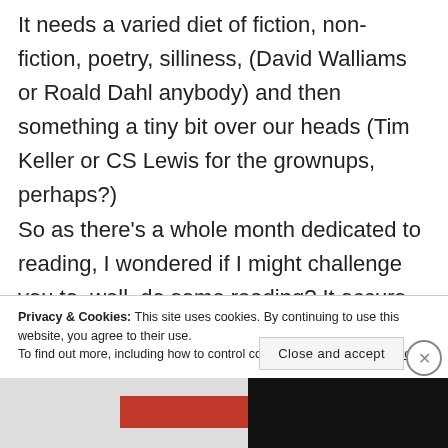It needs a varied diet of fiction, non-fiction, poetry, silliness, (David Walliams or Roald Dahl anybody) and then something a tiny bit over our heads (Tim Keller or CS Lewis for the grownups, perhaps?) So as there's a whole month dedicated to reading, I wondered if I might challenge you to, well, do some reading? It occurs to me that many of us read ourselves to sleep. This
Privacy & Cookies: This site uses cookies. By continuing to use this website, you agree to their use.
To find out more, including how to control cookies, see here: Cookie Policy
Close and accept